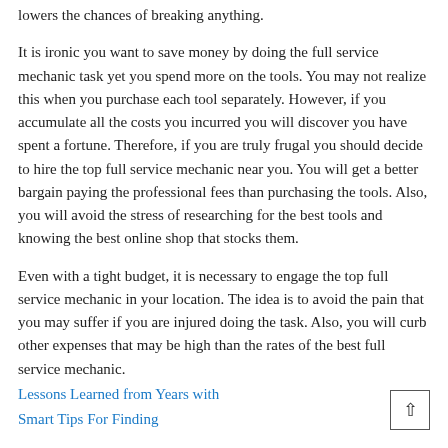lowers the chances of breaking anything.
It is ironic you want to save money by doing the full service mechanic task yet you spend more on the tools. You may not realize this when you purchase each tool separately. However, if you accumulate all the costs you incurred you will discover you have spent a fortune. Therefore, if you are truly frugal you should decide to hire the top full service mechanic near you. You will get a better bargain paying the professional fees than purchasing the tools. Also, you will avoid the stress of researching for the best tools and knowing the best online shop that stocks them.
Even with a tight budget, it is necessary to engage the top full service mechanic in your location. The idea is to avoid the pain that you may suffer if you are injured doing the task. Also, you will curb other expenses that may be high than the rates of the best full service mechanic.
Lessons Learned from Years with
Smart Tips For Finding